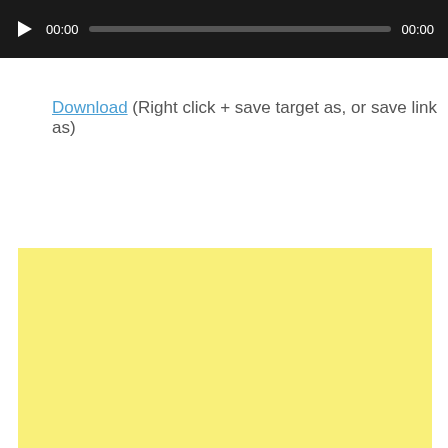[Figure (screenshot): Audio player widget with dark background, play button, time display showing 00:00 on left, progress bar in middle, and 00:00 on right]
Download (Right click + save target as, or save link as)
[Figure (other): Yellow/pale yellow rectangular advertisement or placeholder box]